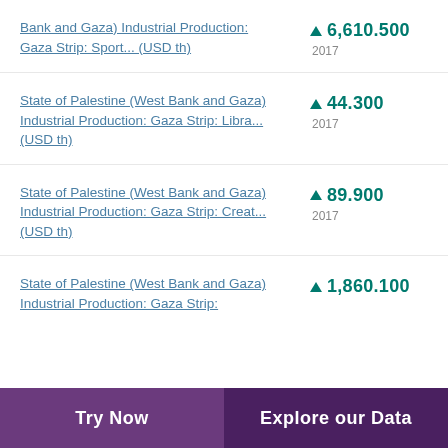State of Palestine (West Bank and Gaza) Industrial Production: Gaza Strip: Sport... (USD th)
State of Palestine (West Bank and Gaza) Industrial Production: Gaza Strip: Libra... (USD th)
State of Palestine (West Bank and Gaza) Industrial Production: Gaza Strip: Creat... (USD th)
State of Palestine (West Bank and Gaza) Industrial Production: Gaza Strip: ...
Try Now | Explore our Data